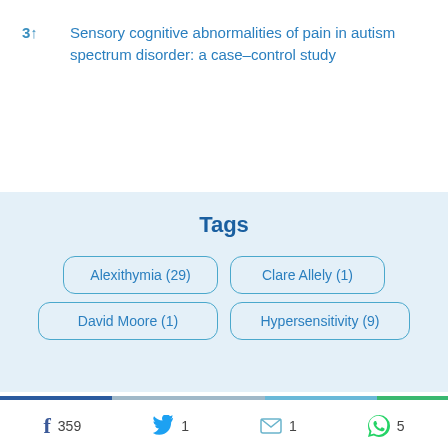3↑   Sensory cognitive abnormalities of pain in autism spectrum disorder: a case–control study
Tags
Alexithymia (29)
Clare Allely (1)
David Moore (1)
Hypersensitivity (9)
359  1  1  5